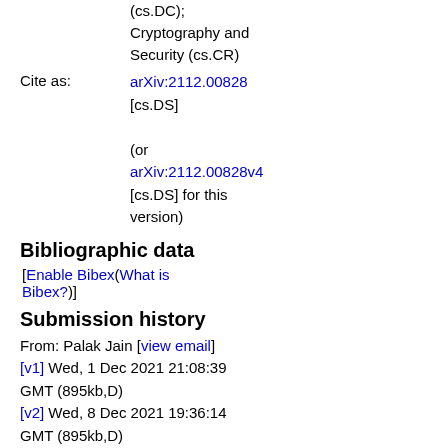(cs.DC); Cryptography and Security (cs.CR)
Cite as: arXiv:2112.00828 [cs.DS] (or arXiv:2112.00828v4 [cs.DS] for this version)
Bibliographic data
[Enable Bibex(What is Bibex?)]
Submission history
From: Palak Jain [view email]
[v1] Wed, 1 Dec 2021 21:08:39 GMT (895kb,D)
[v2] Wed, 8 Dec 2021 19:36:14 GMT (895kb,D)
[v3] Thu, 6 Jan 2022 15:22:32 GMT (1805kb,D)
[v4] Tue, 11 Jan 2022 13:02:02